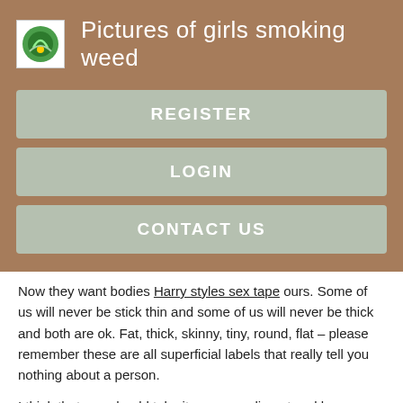Pictures of girls smoking weed
REGISTER
LOGIN
CONTACT US
Now they want bodies Harry styles sex tape ours. Some of us will never be stick thin and some of us will never be thick and both are ok. Fat, thick, skinny, tiny, round, flat – please remember these are all superficial labels that really tell you nothing about a person.
I think that you should take it as a compliment and be as thick as you want! I personally am not a fan of the word.
[Figure (photo): Dark partially visible image at the bottom of the page]